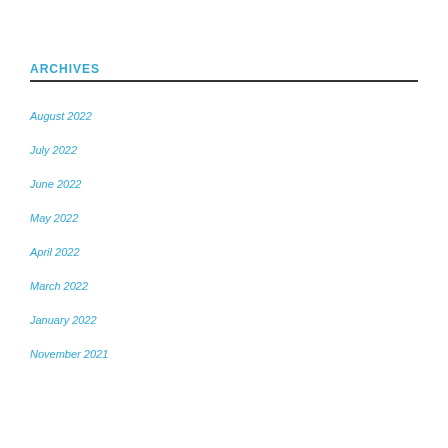ARCHIVES
August 2022
July 2022
June 2022
May 2022
April 2022
March 2022
January 2022
November 2021